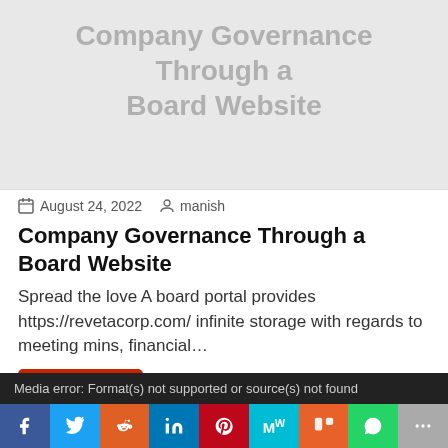[Figure (illustration): Gray hero image area with partially visible article title 'Company Governance Through a Board Website' in light gray text]
📅 August 24, 2022   👤 manish
Company Governance Through a Board Website
Spread the love A board portal provides https://revetacorp.com/ infinite storage with regards to meeting mins, financial…
Uncategorized
Media error: Format(s) not supported or source(s) not found